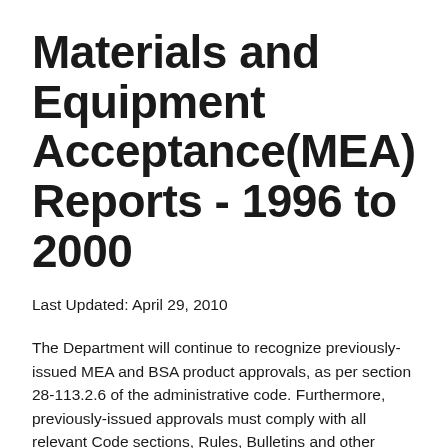Materials and Equipment Acceptance(MEA) Reports - 1996 to 2000
Last Updated: April 29, 2010
The Department will continue to recognize previously-issued MEA and BSA product approvals, as per section 28-113.2.6 of the administrative code. Furthermore, previously-issued approvals must comply with all relevant Code sections, Rules, Bulletins and other regulations.
MEA Resolutions (reports of accepted MEA products referenced by MEA Number valid as of July 1, 2008), can be obtained via the published MEA Index and the online